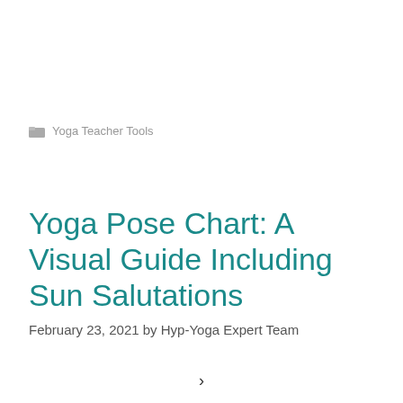Yoga Teacher Tools
Yoga Pose Chart: A Visual Guide Including Sun Salutations
February 23, 2021 by Hyp-Yoga Expert Team